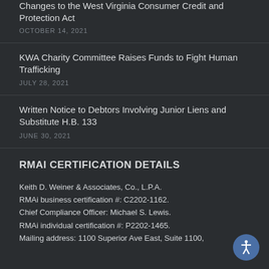Changes to the West Virginia Consumer Credit and Protection Act
OCTOBER 14, 2021
KWA Charity Committee Raises Funds to Fight Human Trafficking
JULY 28, 2021
Written Notice to Debtors Involving Junior Liens and Substitute H.B. 133
JUNE 30, 2021
RMAI CERTIFICATION DETAILS
Keith D. Weiner & Associates, Co., L.P.A.
RMAi business certification #: C2202-1162.
Chief Compliance Officer: Michael S. Lewis.
RMAi individual certification #: P2202-1465.
Mailing address: 1100 Superior Ave East, Suite 1100,